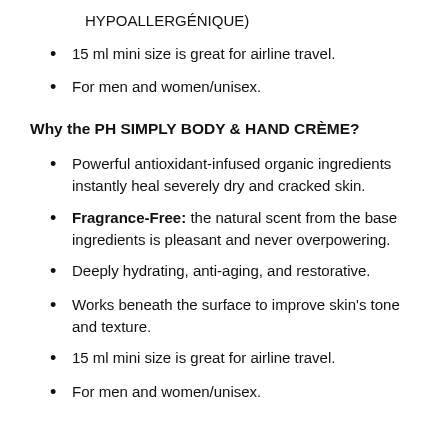HYPOALLERGÉNIQUE)
15 ml mini size is great for airline travel.
For men and women/unisex.
Why the PH SIMPLY BODY & HAND CRÈME?
Powerful antioxidant-infused organic ingredients instantly heal severely dry and cracked skin.
Fragrance-Free: the natural scent from the base ingredients is pleasant and never overpowering.
Deeply hydrating, anti-aging, and restorative.
Works beneath the surface to improve skin's tone and texture.
15 ml mini size is great for airline travel.
For men and women/unisex.